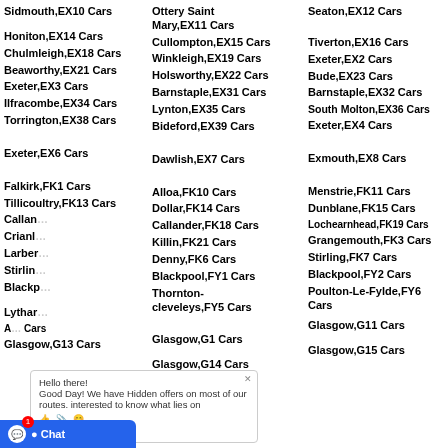Sidmouth,EX10 Cars
Ottery Saint Mary,EX11 Cars
Seaton,EX12 Cars
Honiton,EX14 Cars
Cullompton,EX15 Cars
Tiverton,EX16 Cars
Chulmleigh,EX18 Cars
Winkleigh,EX19 Cars
Exeter,EX2 Cars
Beaworthy,EX21 Cars
Holsworthy,EX22 Cars
Bude,EX23 Cars
Exeter,EX3 Cars
Barnstaple,EX31 Cars
Barnstaple,EX32 Cars
Ilfracombe,EX34 Cars
Lynton,EX35 Cars
South Molton,EX36 Cars
Torrington,EX38 Cars
Bideford,EX39 Cars
Exeter,EX4 Cars
Exeter,EX6 Cars
Dawlish,EX7 Cars
Exmouth,EX8 Cars
Falkirk,FK1 Cars
Alloa,FK10 Cars
Menstrie,FK11 Cars
Tillicoultry,FK13 Cars
Dollar,FK14 Cars
Dunblane,FK15 Cars
Callander,FK17 Cars
Callander,FK18 Cars
Lochearnhead,FK19 Cars
Crianlarich,FK20 Cars
Killin,FK21 Cars
Grangemouth,FK3 Cars
Larbert,FK5 Cars
Denny,FK6 Cars
Stirling,FK7 Cars
Stirling,FK8 Cars
Blackpool,FY1 Cars
Blackpool,FY2 Cars
Blackpool,FY3 Cars
Thornton-cleveleys,FY5 Cars
Poulton-Le-Fylde,FY6 Cars
Lytham,FY8 Cars
Glasgow,G1 Cars
Glasgow,G11 Cars
Glasgow,G13 Cars
Glasgow,G14 Cars
Glasgow,G15 Cars